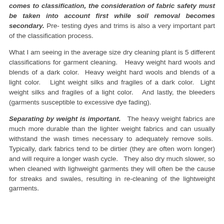comes to classification, the consideration of fabric safety must be taken into account first while soil removal becomes secondary. Pre-testing dyes and trims is also a very important part of the classification process.
What I am seeing in the average size dry cleaning plant is 5 different classifications for garment cleaning. Heavy weight hard wools and blends of a dark color. Heavy weight hard wools and blends of a light color. Light weight silks and fragiles of a dark color. Light weight silks and fragiles of a light color. And lastly, the bleeders (garments susceptible to excessive dye fading).
Separating by weight is important. The heavy weight fabrics are much more durable than the lighter weight fabrics and can usually withstand the wash times necessary to adequately remove soils. Typically, dark fabrics tend to be dirtier (they are often worn longer) and will require a longer wash cycle. They also dry much slower, so when cleaned with lighweight garments they will often be the cause for streaks and swales, resulting in re-cleaning of the lightweight garments.